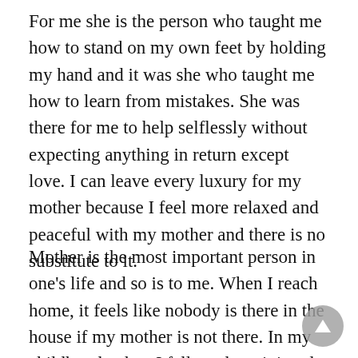For me she is the person who taught me how to stand on my own feet by holding my hand and it was she who taught me how to learn from mistakes. She was there for me to help selflessly without expecting anything in return except love. I can leave every luxury for my mother because I feel more relaxed and peaceful with my mother and there is no substitute to it.
Mother is the most important person in one's life and so is to me. When I reach home, it feels like nobody is there in the house if my mother is not there. In my childhood, when I falls and got injured, the first word that explodes through my mouth is (mummy) mother because I always know that my mother is there for me in every situation and from that time to now there is nothing that